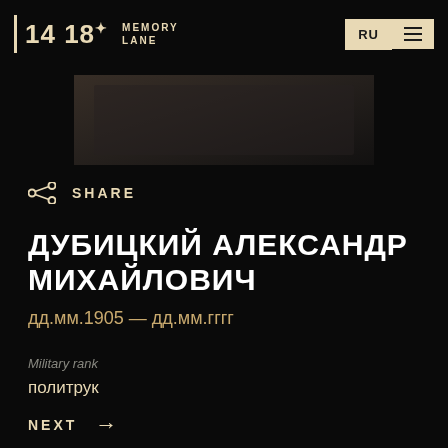14 18* MEMORY LANE | RU
[Figure (photo): Dark archival photograph, mostly obscured, dark tones]
SHARE
ДУБИЦКИЙ АЛЕКСАНДР МИХАЙЛОВИЧ
дд.мм.1905 — дд.мм.гггг
Military rank
политрук
NEXT →